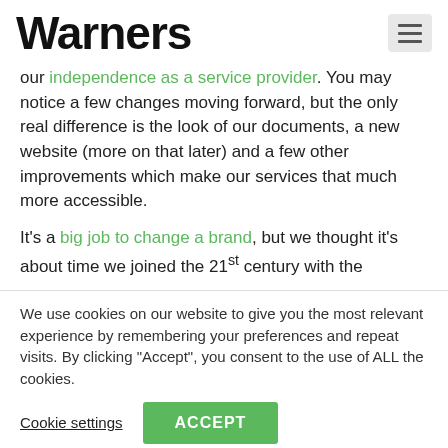Warners
our independence as a service provider. You may notice a few changes moving forward, but the only real difference is the look of our documents, a new website (more on that later) and a few other improvements which make our services that much more accessible.
It's a big job to change a brand, but we thought it's about time we joined the 21st century with the
We use cookies on our website to give you the most relevant experience by remembering your preferences and repeat visits. By clicking “Accept”, you consent to the use of ALL the cookies.
Cookie settings | ACCEPT